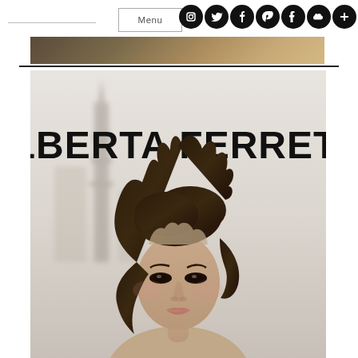Menu
[Figure (photo): Alberta Ferretti fashion campaign photo showing a woman with dark wavy hair in front of a blurred architectural background (tower/spire). The brand name ALBERTA FERRETTI is displayed in large bold black uppercase letters across the upper portion of the image.]